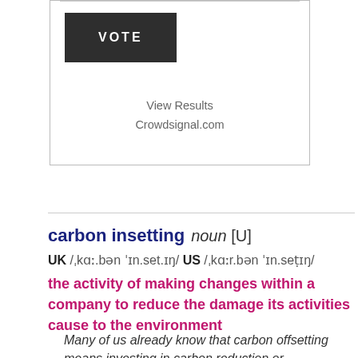[Figure (screenshot): Poll widget with VOTE button, View Results link, and Crowdsignal.com attribution]
View Results
Crowdsignal.com
carbon insetting  noun [U]  UK /ˌkɑː.bən ˈɪn.set.ɪŋ/ US /ˌkɑːr.bən ˈɪn.seṭɪŋ/
the activity of making changes within a company to reduce the damage its activities cause to the environment
Many of us already know that carbon offsetting means investing in carbon reduction or